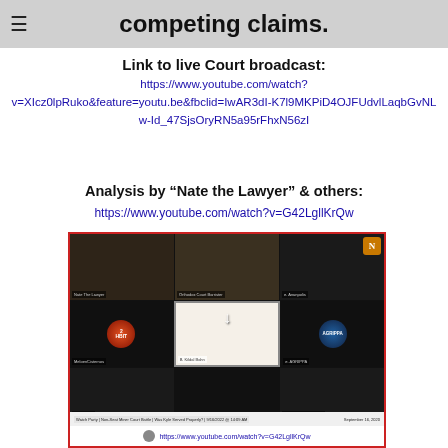competing claims.
Link to live Court broadcast:
https://www.youtube.com/watch?v=XIcz0lpRuko&feature=youtu.be&fbclid=IwAR3dI-K7l9MKPiD4OJFUdvlLaqbGvNLw-Id_47SjsOryRN5a95rFhxN56zI
Analysis by “Nate the Lawyer” & others:
https://www.youtube.com/watch?v=G42LgllKrQw
[Figure (screenshot): Screenshot of a YouTube live stream showing a video conference call with multiple participants in a grid layout. Bottom shows URL https://www.youtube.com/watch?v=G42LgllKrQw and date September 16, 2020.]